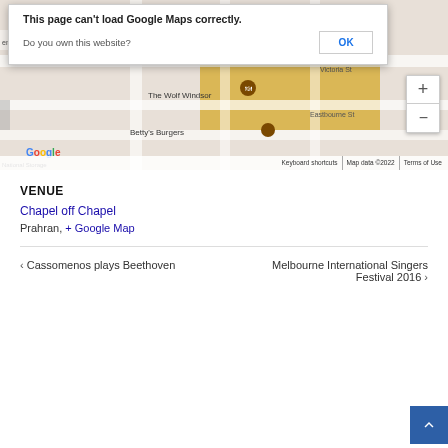[Figure (screenshot): Google Maps screenshot showing area around Chapel off Chapel in Prahran, with an error dialog 'This page can't load Google Maps correctly.' and an OK button, plus zoom controls and map attribution bar.]
VENUE
Chapel off Chapel
Prahran, + Google Map
< Cassomenos plays Beethoven
Melbourne International Singers Festival 2016 >